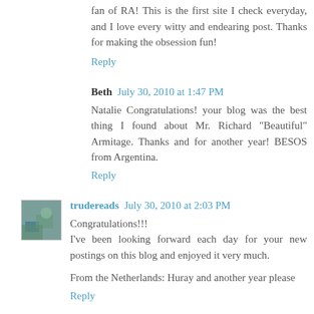fan of RA! This is the first site I check everyday, and I love every witty and endearing post. Thanks for making the obsession fun!
Reply
Beth  July 30, 2010 at 1:47 PM
Natalie Congratulations! your blog was the best thing I found about Mr. Richard "Beautiful" Armitage. Thanks and for another year! BESOS from Argentina.
Reply
trudereads  July 30, 2010 at 2:03 PM
Congratulations!!!
I've been looking forward each day for your new postings on this blog and enjoyed it very much.

From the Netherlands: Huray and another year please
Reply